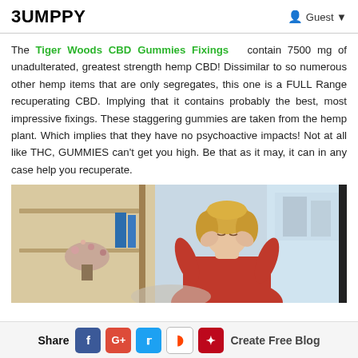BUMPPY   Guest
The Tiger Woods CBD Gummies Fixings contain 7500 mg of unadulterated, greatest strength hemp CBD! Dissimilar to so numerous other hemp items that are only segregates, this one is a FULL Range recuperating CBD. Implying that it contains probably the best, most impressive fixings. These staggering gummies are taken from the hemp plant. Which implies that they have no psychoactive impacts! Not at all like THC, GUMMIES can't get you high. Be that as it may, it can in any case help you recuperate.
[Figure (photo): Woman with blonde hair in red sweater holding her head in her hands, appearing stressed or in pain, sitting in a modern interior with shelving and blue accents in the background]
Share  [Facebook] [Google+] [Twitter] [Reddit] [Pinterest]  Create Free Blog